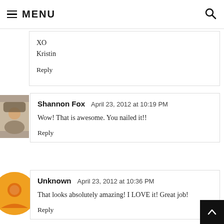MENU
XO
Kristin
Reply
Shannon Fox  April 23, 2012 at 10:19 PM
Wow! That is awesome. You nailed it!!
Reply
Unknown  April 23, 2012 at 10:36 PM
That looks absolutely amazing! I LOVE it! Great job!
Reply
Leslie  April 23, 2012 at 11:09 PM
The is a fabulous idea. Thanks for sharing!!!!!